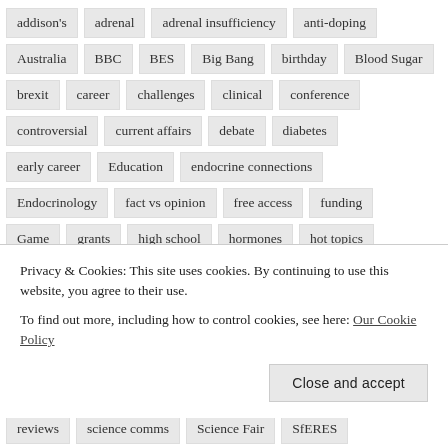addison's
adrenal
adrenal insufficiency
anti-doping
Australia
BBC
BES
Big Bang
birthday
Blood Sugar
brexit
career
challenges
clinical
conference
controversial
current affairs
debate
diabetes
early career
Education
endocrine connections
Endocrinology
fact vs opinion
free access
funding
Game
grants
high school
hormones
hot topics
How To
John Moores
journals
Liverpool
media
Privacy & Cookies: This site uses cookies. By continuing to use this website, you agree to their use. To find out more, including how to control cookies, see here: Our Cookie Policy
reviews
science comms
Science Fair
SfERES